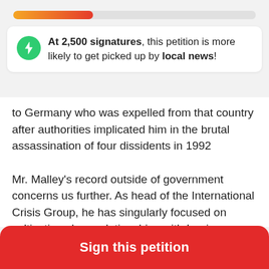[Figure (other): Progress bar showing petition signature progress, gradient from orange to red, approximately 33% filled]
At 2,500 signatures, this petition is more likely to get picked up by local news!
to Germany who was expelled from that country after authorities implicated him in the brutal assassination of four dissidents in 1992
Mr. Malley’s record outside of government concerns us further. As head of the International Crisis Group, he has singularly focused on cultivating close relationships with Iranian government officials and even hosting roundtable discussions with Iran’s Foreign Minister. None of this outreach to Iranian government officials has been complimented with outreach to Iranian civil society. On the contrary
Sign this petition